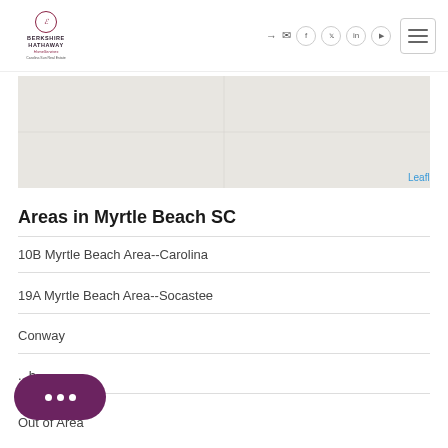Berkshire Hathaway HomeServices Carolina Sun Real Estate
[Figure (map): Leaflet map showing gray area with Leaflet attribution link]
Areas in Myrtle Beach SC
10B Myrtle Beach Area--Carolina
19A Myrtle Beach Area--Socastee
Conway
...h
Out of Area